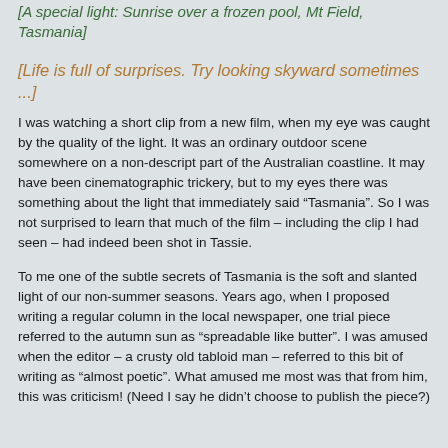[A special light: Sunrise over a frozen pool, Mt Field, Tasmania]
[Life is full of surprises. Try looking skyward sometimes ...]
I was watching a short clip from a new film, when my eye was caught by the quality of the light. It was an ordinary outdoor scene somewhere on a non-descript part of the Australian coastline. It may have been cinematographic trickery, but to my eyes there was something about the light that immediately said “Tasmania”. So I was not surprised to learn that much of the film – including the clip I had seen – had indeed been shot in Tassie.
To me one of the subtle secrets of Tasmania is the soft and slanted light of our non-summer seasons. Years ago, when I proposed writing a regular column in the local newspaper, one trial piece referred to the autumn sun as “spreadable like butter”. I was amused when the editor – a crusty old tabloid man – referred to this bit of writing as “almost poetic”. What amused me most was that from him, this was criticism! (Need I say he didn’t choose to publish the piece?)